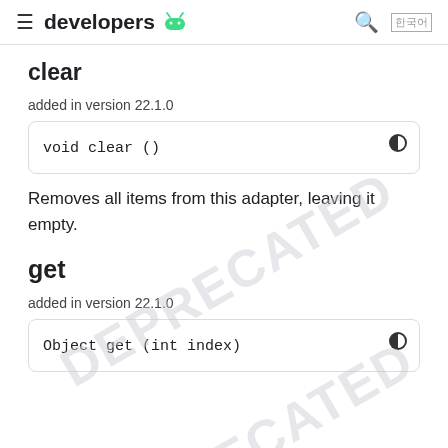developers [Android logo]
clear
added in version 22.1.0
[Figure (screenshot): Code block showing: void clear ()]
Removes all items from this adapter, leaving it empty.
get
added in version 22.1.0
[Figure (screenshot): Code block showing: Object get (int index)]